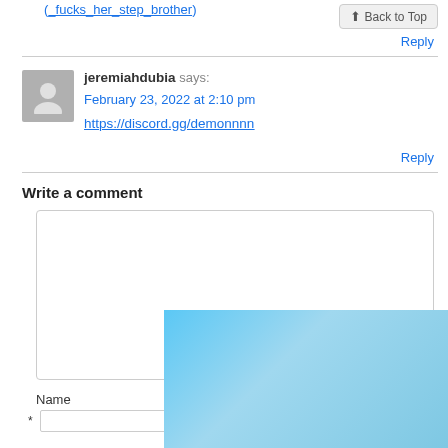(_fucks_her_step_brother)
Back to Top
Reply
jeremiahdubia says:
February 23, 2022 at 2:10 pm
https://discord.gg/demonnnn
Reply
Write a comment
Name
[Figure (photo): Advertisement overlay showing 'THE BEST FETISH' text on a blue background]